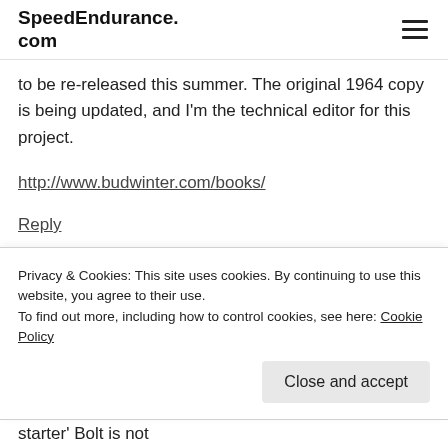SpeedEndurance.com
to be re-released this summer. The original 1964 copy is being updated, and I'm the technical editor for this project.
http://www.budwinter.com/books/
Reply
Harri Heimonen says
Privacy & Cookies: This site uses cookies. By continuing to use this website, you agree to their use.
To find out more, including how to control cookies, see here: Cookie Policy
Close and accept
starter' Bolt is not